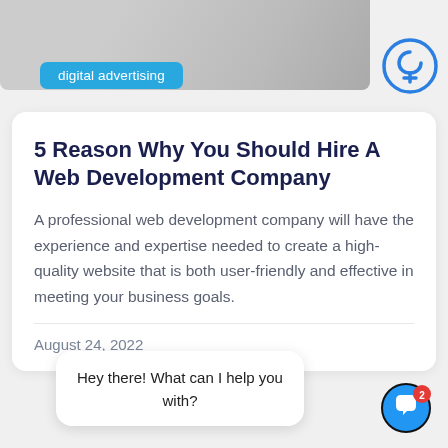[Figure (photo): Partial view of a person in white clothing with a plant in the background, cropped at top]
digital advertising
[Figure (logo): Circular loop/pin logo icon in blue outline style]
5 Reason Why You Should Hire A Web Development Company
A professional web development company will have the experience and expertise needed to create a high-quality website that is both user-friendly and effective in meeting your business goals.
August 24, 2022
Hey there! What can I help you with?
[Figure (illustration): Blue circular chat button with white speech bubble icon and red badge showing number 2]